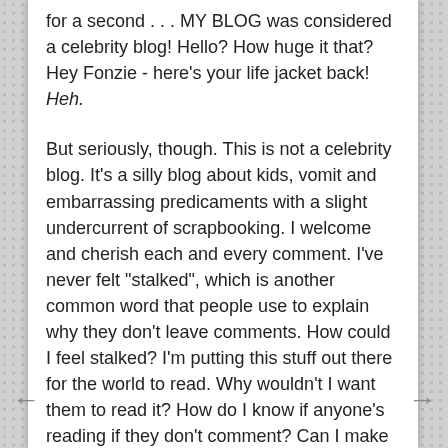for a second . . . MY BLOG was considered a celebrity blog! Hello? How huge it that? Hey Fonzie - here's your life jacket back! Heh.
But seriously, though. This is not a celebrity blog. It's a silly blog about kids, vomit and embarrassing predicaments with a slight undercurrent of scrapbooking. I welcome and cherish each and every comment. I've never felt "stalked", which is another common word that people use to explain why they don't leave comments. How could I feel stalked? I'm putting this stuff out there for the world to read. Why wouldn't I want them to read it? How do I know if anyone's reading if they don't comment? Can I make it any clearer: I.LOVE.COMMENTS!!!! hee.
Plus, I don't really hold any sort of "big break" power.